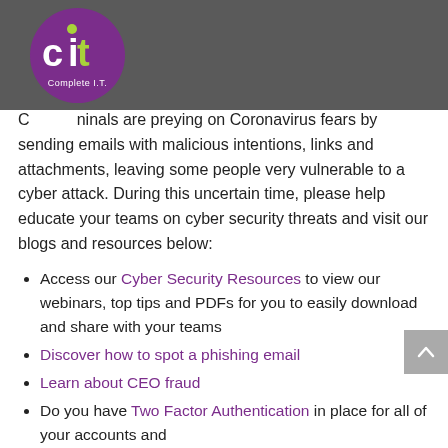[Figure (logo): CIT Complete I.T. logo — white circle with purple background, 'cit' text in white and lime green, 'Complete I.T.' in white below]
Criminals are preying on Coronavirus fears by sending emails with malicious intentions, links and attachments, leaving some people very vulnerable to a cyber attack. During this uncertain time, please help educate your teams on cyber security threats and visit our blogs and resources below:
Access our Cyber Security Resources to view our webinars, top tips and PDFs for you to easily download and share with your teams
Discover how to spot a phishing email
Learn about CEO fraud
Do you have Two Factor Authentication in place for all of your accounts and